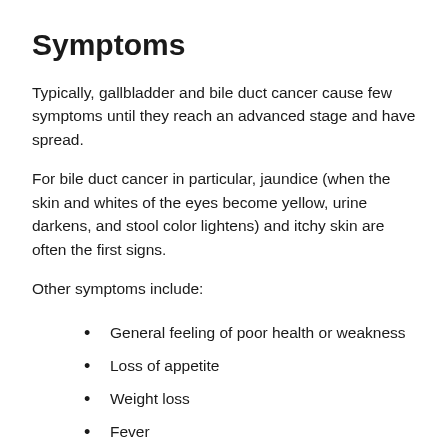Symptoms
Typically, gallbladder and bile duct cancer cause few symptoms until they reach an advanced stage and have spread.
For bile duct cancer in particular, jaundice (when the skin and whites of the eyes become yellow, urine darkens, and stool color lightens) and itchy skin are often the first signs.
Other symptoms include:
General feeling of poor health or weakness
Loss of appetite
Weight loss
Fever
Fatigue